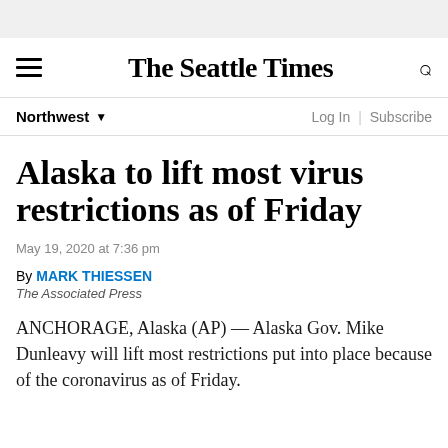The Seattle Times
Northwest
Alaska to lift most virus restrictions as of Friday
May 19, 2020 at 7:36 pm
By MARK THIESSEN
The Associated Press
ANCHORAGE, Alaska (AP) — Alaska Gov. Mike Dunleavy will lift most restrictions put into place because of the coronavirus as of Friday.